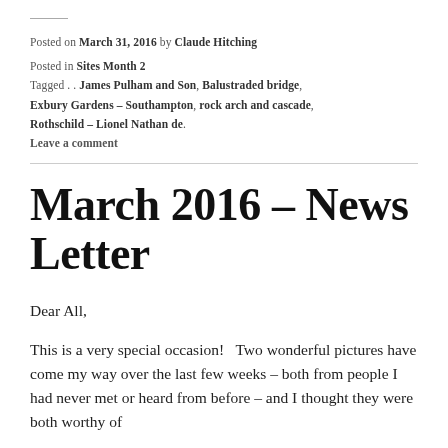Posted on March 31, 2016 by Claude Hitching
Posted in Sites Month 2
Tagged . . James Pulham and Son, Balustraded bridge, Exbury Gardens – Southampton, rock arch and cascade, Rothschild – Lionel Nathan de.
Leave a comment
March 2016 – News Letter
Dear All,
This is a very special occasion!   Two wonderful pictures have come my way over the last few weeks – both from people I had never met or heard from before – and I thought they were both worthy of